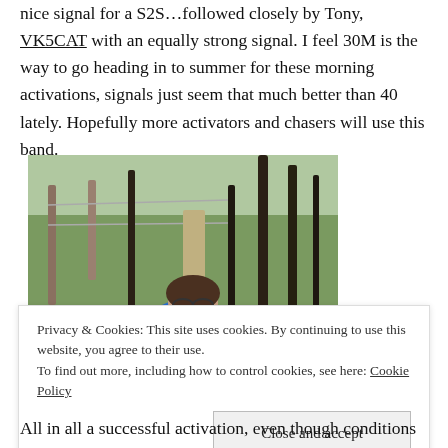nice signal for a S2S…followed closely by Tony, VK5CAT with an equally strong signal. I feel 30M is the way to go heading in to summer for these morning activations, signals just seem that much better than 40 lately. Hopefully more activators and chasers will use this band.
[Figure (photo): A person wearing a blue hoodie sitting on the ground outdoors among trees and grass, with fence posts visible in the background.]
Privacy & Cookies: This site uses cookies. By continuing to use this website, you agree to their use. To find out more, including how to control cookies, see here: Cookie Policy
All in all a successful activation, even though conditions